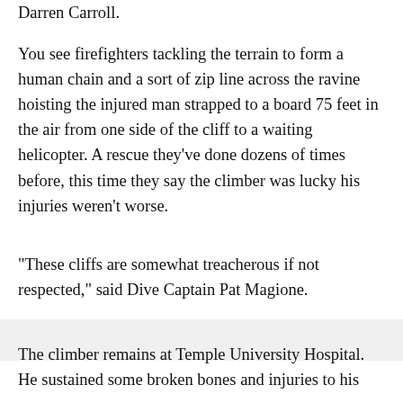Darren Carroll.
You see firefighters tackling the terrain to form a human chain and a sort of zip line across the ravine hoisting the injured man strapped to a board 75 feet in the air from one side of the cliff to a waiting helicopter. A rescue they've done dozens of times before, this time they say the climber was lucky his injuries weren't worse.
"These cliffs are somewhat treacherous if not respected," said Dive Captain Pat Magione.
The climber remains at Temple University Hospital. He sustained some broken bones and injuries to his